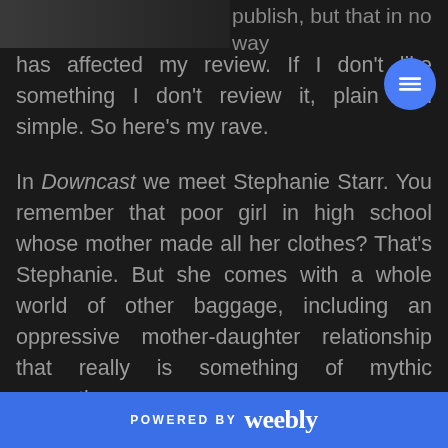[Figure (other): Dark header image strip partially visible at top left]
publish, but that in no way has affected my review. If I don't like something I don't review it, plain and simple. So here's my rave.
In Downcast we meet Stephanie Starr. You remember that poor girl in high school whose mother made all her clothes? That's Stephanie. But she comes with a whole world of other baggage, including an oppressive mother-daughter relationship that really is something of mythic proportions.
POWERED BY weebly